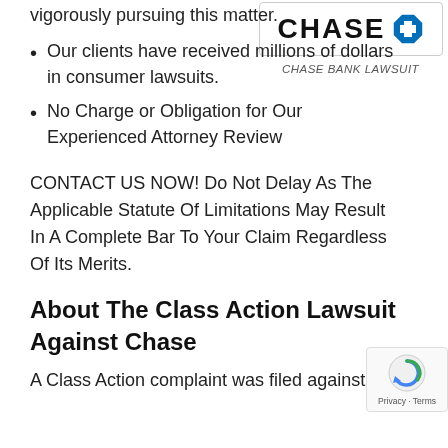vigorously pursuing this matter.
[Figure (logo): Chase Bank logo with octagon symbol and text CHASE]
CHASE BANK LAWSUIT
Our clients have received millions of dollars in consumer lawsuits.
No Charge or Obligation for Our Experienced Attorney Review
CONTACT US NOW! Do Not Delay As The Applicable Statute Of Limitations May Result In A Complete Bar To Your Claim Regardless Of Its Merits.
About The Class Action Lawsuit Against Chase
A Class Action complaint was filed against J.P.